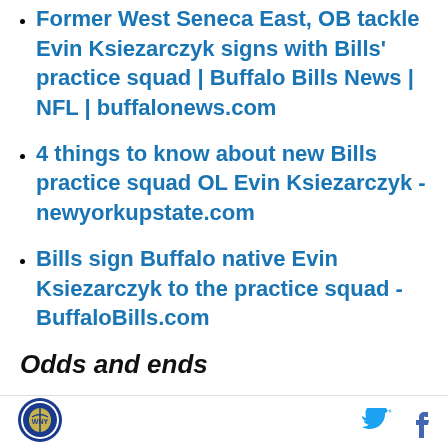Former West Seneca East, OB tackle Evin Ksiezarczyk signs with Bills' practice squad | Buffalo Bills News | NFL | buffalonews.com
4 things to know about new Bills practice squad OL Evin Ksiezarczyk - newyorkupstate.com
Bills sign Buffalo native Evin Ksiezarczyk to the practice squad - BuffaloBills.com
Odds and ends
We learn how Dallas Cowboys owner Jerry Jones is guiding Terry and Kim Pegula as they work on plans for a new stadium for the Bills, discuss the upcoming financial windfall coming towards the Bills from the
footer with logo and social icons